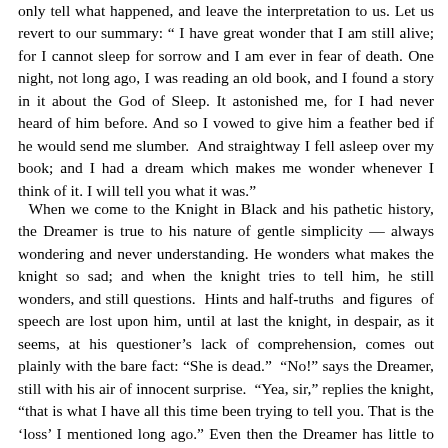only tell what happened, and leave the interpretation to us. Let us revert to our summary: " I have great wonder that I am still alive; for I cannot sleep for sorrow and I am ever in fear of death. One night, not long ago, I was reading an old book, and I found a story in it about the God of Sleep. It astonished me, for I had never heard of him before. And so I vowed to give him a feather bed if he would send me slumber.  And straightway I fell asleep over my book; and I had a dream which makes me wonder whenever I think of it. I will tell you what it was."
When we come to the Knight in Black and his pathetic history, the Dreamer is true to his nature of gentle simplicity — always wondering and never understanding. He wonders what makes the knight so sad; and when the knight tries to tell him, he still wonders, and still questions.  Hints and half-truths  and figures  of speech are lost upon him, until at last the knight, in despair, as it seems, at his questioner's lack of comprehension, comes out plainly with the bare fact: "She is dead."  "No!" says the Dreamer, still with his air of innocent surprise.  "Yea, sir," replies the knight, "that is what I have all this time been trying to tell you. That is the 'loss' I mentioned long ago." Even then the Dreamer has little to say. He can only speak the language of nature and simplicity: "Is that your loss? By God, it is a pity!" And then he dreamt that the hunt was over, and a clock in a tower struck twelve, and he awoke, and there he was — lying in bed, with his book of ancient stories still in his hand.  And so he wonders more than ever. He does not